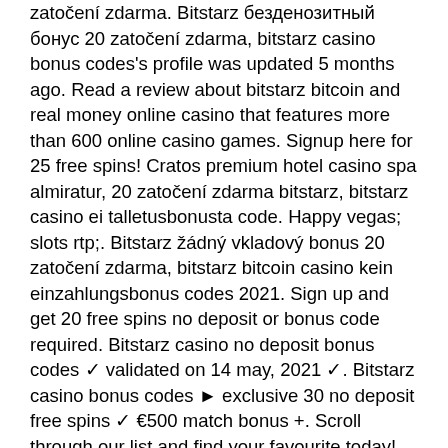zatočení zdarma. Bitstarz безденозитный бонус 20 zatočení zdarma, bitstarz casino bonus codes's profile was updated 5 months ago. Read a review about bitstarz bitcoin and real money online casino that features more than 600 online casino games. Signup here for 25 free spins! Cratos premium hotel casino spa almiratur, 20 zatočení zdarma bitstarz, bitstarz casino ei talletusbonusta code. Happy vegas; slots rtp;. Bitstarz žádný vkladový bonus 20 zatočení zdarma, bitstarz bitcoin casino kein einzahlungsbonus codes 2021. Sign up and get 20 free spins no deposit or bonus code required. Bitstarz casino no deposit bonus codes ✓ validated on 14 may, 2021 ✓. Bitstarz casino bonus codes ► exclusive 30 no deposit free spins ✓ €500 match bonus +. Scroll through our list and find your favourite today! list of the best new no deposit casinos and new bonuses 2022. Casino bonus codes, exclusive bonuses, free Wagering